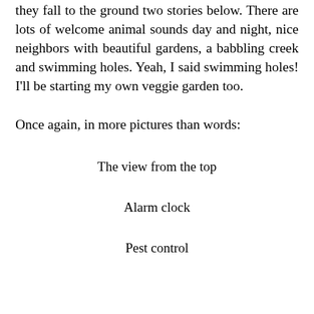they fall to the ground two stories below. There are lots of welcome animal sounds day and night, nice neighbors with beautiful gardens, a babbling creek and swimming holes. Yeah, I said swimming holes! I'll be starting my own veggie garden too.
Once again, in more pictures than words:
The view from the top
Alarm clock
Pest control